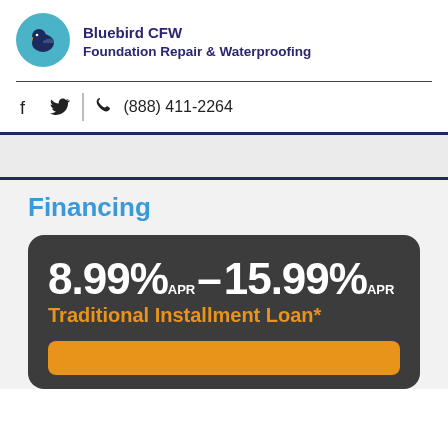[Figure (logo): Bluebird CFW logo: teal circle with white bird silhouette]
Bluebird CFW
Foundation Repair & Waterproofing
(888) 411-2264
Financing
[Figure (infographic): Dark card showing financing rate: 8.99% APR – 15.99% APR Traditional Installment Loan* with an orange button below]